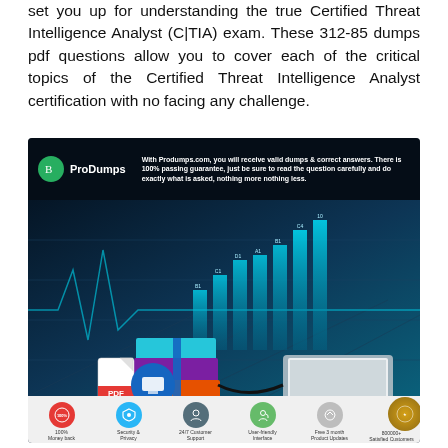set you up for understanding the true Certified Threat Intelligence Analyst (C|TIA) exam. These 312-85 dumps pdf questions allow you to cover each of the critical topics of the Certified Threat Intelligence Analyst certification with no facing any challenge.
[Figure (infographic): ProDumps.com promotional banner showing books connected to a laptop via cable, PDF and monitor icons, bar chart visualization in background, with tagline about valid dumps and 100% passing guarantee. Bottom row shows 6 feature icons: 100% Money back, Security & Privacy, 24/7 Customer Support, User-friendly Interface, Free 3 month Product Updates, 800000+ Satisfied Customers.]